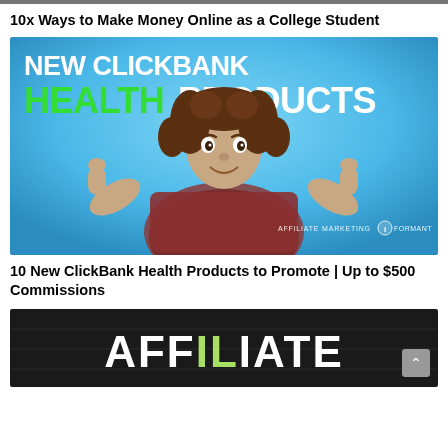10x Ways to Make Money Online as a College Student
[Figure (photo): Thumbnail image with blue background. Text reads 'NEW CLICKBANK HEALTH PRODUCTS' with HEALTH in green. A person with curly hair gives two thumbs up. Watermark: AFFILIATE MARKETING INFORMANT.]
10 New ClickBank Health Products to Promote | Up to $500 Commissions
[Figure (photo): Dark thumbnail image with bold text reading 'AFFILIATE' in white and green letters on a black background.]